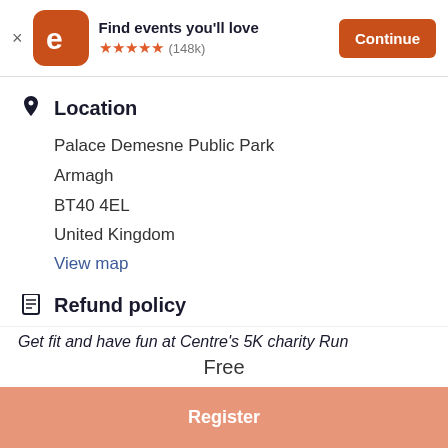[Figure (screenshot): Eventbrite app logo: orange rounded square with white 'e' letter]
Find events you'll love
★★★★★ (148k)
Continue
Location
Palace Demesne Public Park
Armagh
BT40 4EL
United Kingdom
View map
Refund policy
No Refunds
Get fit and have fun at Centre's 5K charity Run
Free
Register